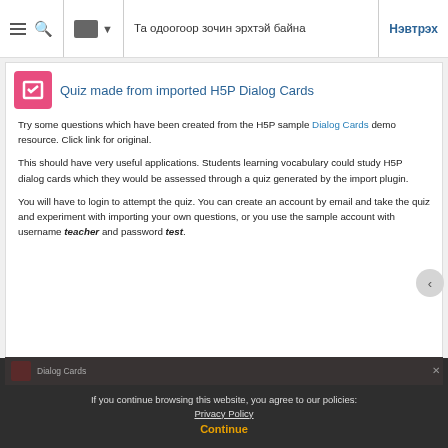Та одоогоор зочин эрхтэй байна | Нэвтрэх
Quiz made from imported H5P Dialog Cards
Try some questions which have been created from the H5P sample Dialog Cards demo resource. Click link for original.
This should have very useful applications. Students learning vocabulary could study H5P dialog cards which they would be assessed through a quiz generated by the import plugin.
You will have to login to attempt the quiz. You can create an account by email and take the quiz and experiment with importing your own questions, or you use the sample account with username teacher and password test.